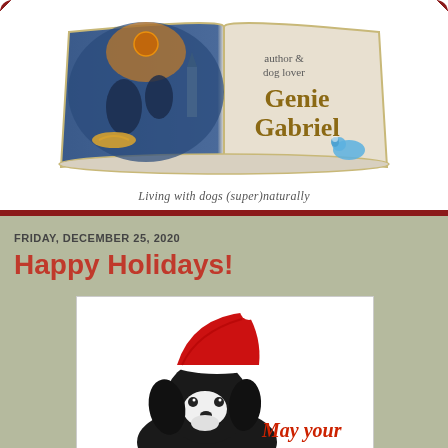[Figure (logo): Genie Gabriel author and dog lover logo with open book, fantasy scene, and tagline 'Living with dogs (super)naturally']
FRIDAY, DECEMBER 25, 2020
Happy Holidays!
[Figure (photo): Black and white dog wearing a red Santa hat, with text 'May your' in red script at the bottom right]